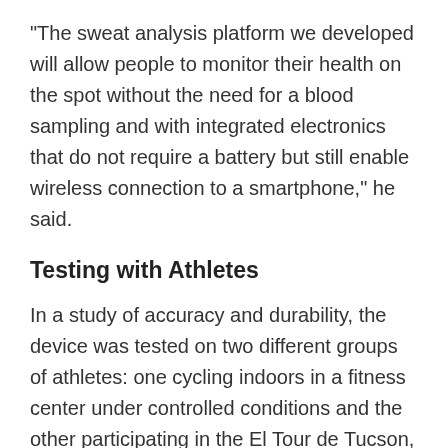“The sweat analysis platform we developed will allow people to monitor their health on the spot without the need for a blood sampling and with integrated electronics that do not require a battery but still enable wireless connection to a smartphone,” he said.
Testing with Athletes
In a study of accuracy and durability, the device was tested on two different groups of athletes: one cycling indoors in a fitness center under controlled conditions and the other participating in the El Tour de Tucson, a long-distance bicycle race in arid and complex conditions. The scientists placed the device